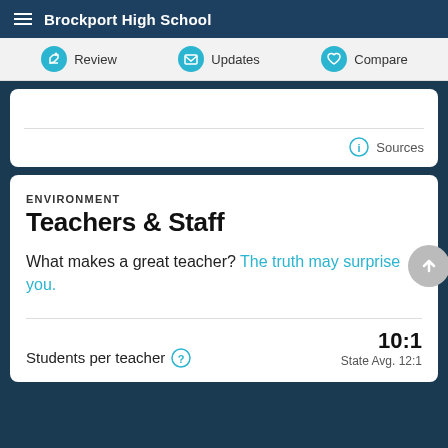Brockport High School
Review
Updates
Compare
Sources
ENVIRONMENT
Teachers & Staff
What makes a great teacher? The truth may surprise you.
Students per teacher ? 10:1 State Avg. 12:1